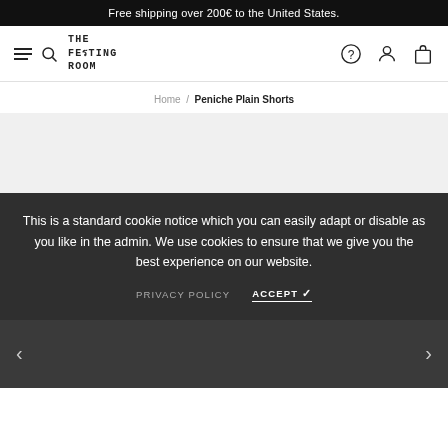Free shipping over 200€ to the United States.
[Figure (logo): The Feeling Room brand logo with hamburger menu and search icon on left, and question mark, user account, and shopping bag icons on right]
Home / Peniche Plain Shorts
[Figure (photo): Light grey product image placeholder area]
This is a standard cookie notice which you can easily adapt or disable as you like in the admin. We use cookies to ensure that we give you the best experience on our website.
PRIVACY POLICY   ACCEPT ✓
[Figure (photo): Dark product image area with left and right navigation arrows]